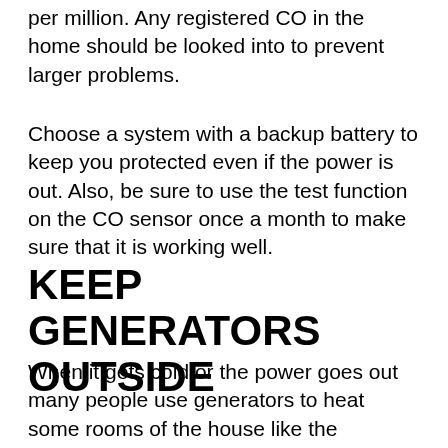per million. Any registered CO in the home should be looked into to prevent larger problems.
Choose a system with a backup battery to keep you protected even if the power is out. Also, be sure to use the test function on the CO sensor once a month to make sure that it is working well.
KEEP GENERATORS OUTSIDE
When it gets cold or the power goes out many people use generators to heat some rooms of the house like the basement. Generators give off CO and should not be used indoors.